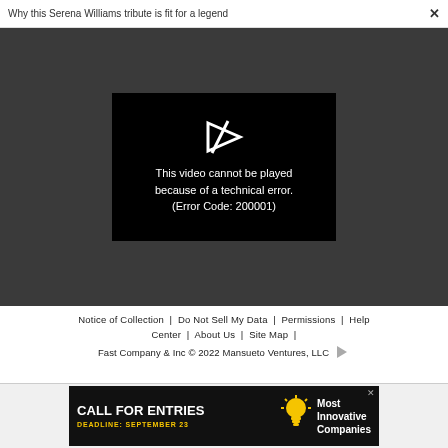Why this Serena Williams tribute is fit for a legend  ×
[Figure (screenshot): Video player showing error message on dark grey background. Black video frame with play icon and text: 'This video cannot be played because of a technical error. (Error Code: 200001)']
Notice of Collection  |  Do Not Sell My Data  |  Permissions  |  Help Center  |  About Us  |  Site Map  |  Fast Company & Inc © 2022 Mansueto Ventures, LLC
[Figure (screenshot): Advertisement banner: CALL FOR ENTRIES DEADLINE: SEPTEMBER 23 with lightbulb icon and text 'Most Innovative Companies']